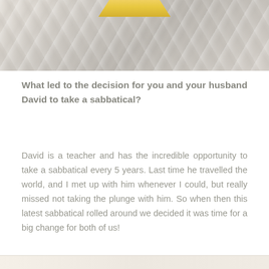[Figure (photo): Top portion of a decorative photo with marble stone texture in grey and white tones, with a gold/yellow geometric element at the top center.]
What led to the decision for you and your husband David to take a sabbatical?
David is a teacher and has the incredible opportunity to take a sabbatical every 5 years. Last time he travelled the world, and I met up with him whenever I could, but really missed not taking the plunge with him. So when then this latest sabbatical rolled around we decided it was time for a big change for both of us!